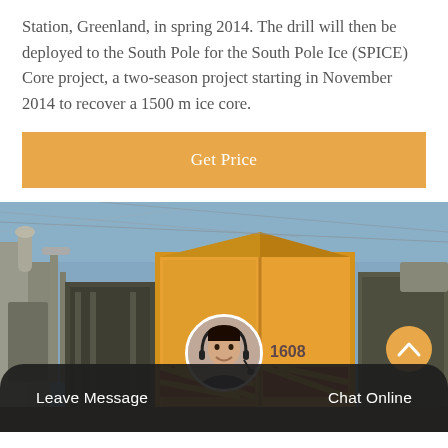Station, Greenland, in spring 2014. The drill will then be deployed to the South Pole for the South Pole Ice (SPICE) Core project, a two-season project starting in November 2014 to recover a 1500 m ice core.
Get Price
[Figure (photo): Industrial/engineering scene showing yellow heavy equipment containers and machinery with electrical infrastructure in the background.]
Leave Message   Chat Online